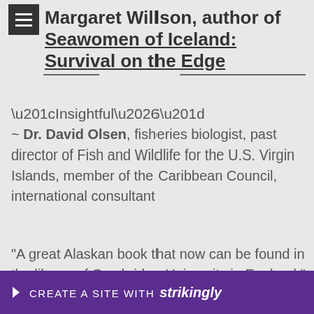Margaret Willson, author of Seawomen of Iceland: Survival on the Edge
“Insightful…”
~ Dr. David Olsen, fisheries biologist, past director of Fish and Wildlife for the U.S. Virgin Islands, member of the Caribbean Council, international consultant
"A great Alaskan book that now can be found in the library of Cambridge University in England."
~ Law... r Rese...